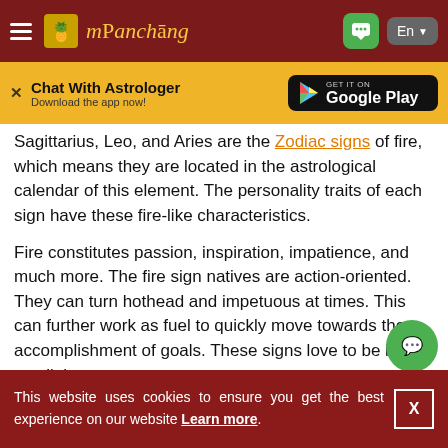mPanchang
[Figure (screenshot): Ad banner: Chat With Astrologer - Download the app now! with Google Play button]
Sagittarius, Leo, and Aries are the Zodiac signs of fire, which means they are located in the astrological calendar of this element. The personality traits of each sign have these fire-like characteristics.
Fire constitutes passion, inspiration, impatience, and much more. The fire sign natives are action-oriented. They can turn hothead and impetuous at times. This can further work as fuel to quickly move towards the accomplishment of goals. These signs love to be in the spotlight.
This website uses cookies to ensure you get the best experience on our website Learn more.